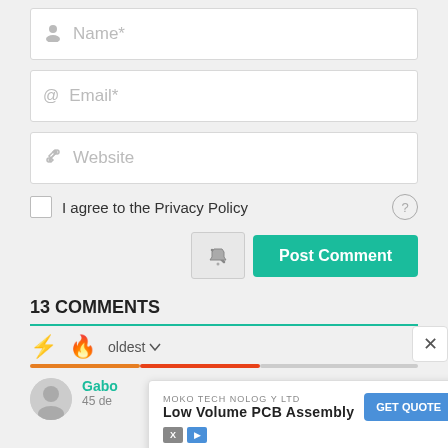[Figure (screenshot): Web form with Name*, Email*, Website fields, a privacy policy checkbox, notify button, and Post Comment green button]
13 COMMENTS
[Figure (infographic): Comment sorting icons: bolt (orange), flame (red), and oldest dropdown with progress bars]
Gabe
45 de
[Figure (infographic): Advertisement popup: MOKO TECHNOLOGY LTD - Low Volume PCB Assembly - GET QUOTE button, with X close button]